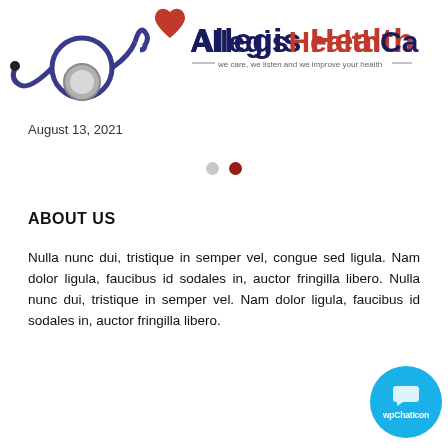[Figure (logo): Allegis HealthCare logo with stethoscope and red heart, tagline: we care, we listen and we improve your health]
August 13, 2021
[Figure (other): Carousel navigation dots: one inactive grey dot and one active dark red dot]
ABOUT US
Nulla nunc dui, tristique in semper vel, congue sed ligula. Nam dolor ligula, faucibus id sodales in, auctor fringilla libero. Nulla nunc dui, tristique in semper vel. Nam dolor ligula, faucibus id sodales in, auctor fringilla libero.
[Figure (other): wpChatIcon floating chat button]